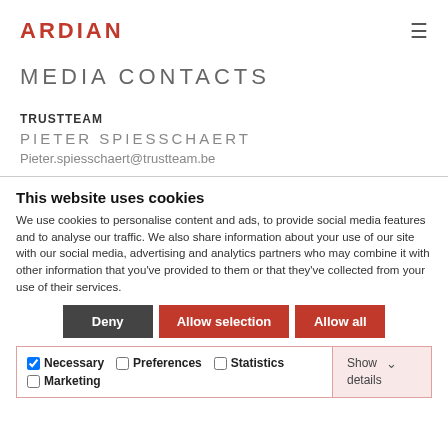ARDIAN
MEDIA CONTACTS
TRUSTTEAM
PIETER SPIESSCHAERT
Pieter.spiesschaert@trustteam.be
This website uses cookies
We use cookies to personalise content and ads, to provide social media features and to analyse our traffic. We also share information about your use of our site with our social media, advertising and analytics partners who may combine it with other information that you've provided to them or that they've collected from your use of their services.
Deny | Allow selection | Allow all
Necessary  Preferences  Statistics  Marketing  Show details